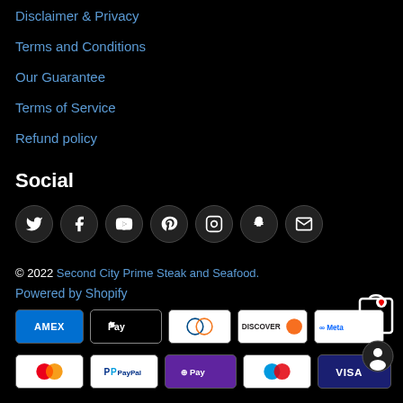Disclaimer & Privacy
Terms and Conditions
Our Guarantee
Terms of Service
Refund policy
Social
[Figure (infographic): Row of social media icon buttons: Twitter, Facebook, YouTube, Pinterest, Instagram, Snapchat, Email]
© 2022 Second City Prime Steak and Seafood.
Powered by Shopify
[Figure (infographic): Payment method icons row 1: American Express, Apple Pay, Diners Club, Discover, Meta Pay]
[Figure (infographic): Payment method icons row 2: Mastercard, PayPal, Google Pay, Maestro, Visa]